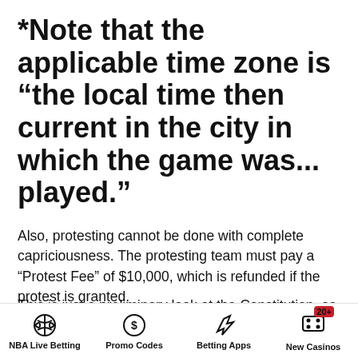*Note that the applicable time zone is “the local time then current in the city in which the game was… played.”
Also, protesting cannot be done with complete capriciousness. The protesting team must pay a “Protest Fee” of $10,000, which is refunded if the protest is granted.
This is just a preliminary look at the Constitution, as there is of course much more to the 58-page Constitution and
NBA Live Betting | Promo Codes | Betting Apps | New Casinos